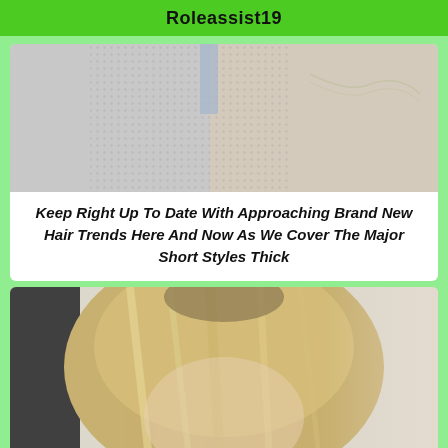Roleassist19
[Figure (photo): Close-up photo of a person wearing a white knit/mesh sweater with a blue strap and silver chain necklace visible]
Keep Right Up To Date With Approaching Brand New Hair Trends Here And Now As We Cover The Major Short Styles Thick
[Figure (photo): Photo of a person with medium-length blonde highlighted hair, face partially visible, against a light background with dark element on left side]